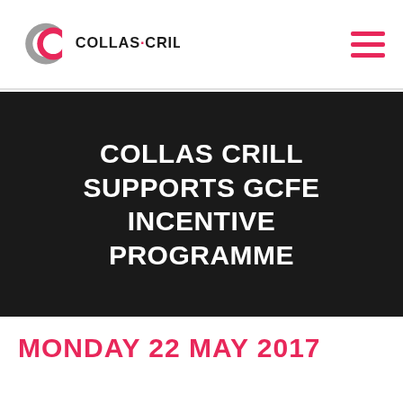COLLAS·CRILL
COLLAS CRILL SUPPORTS GCFE INCENTIVE PROGRAMME
MONDAY 22 MAY 2017